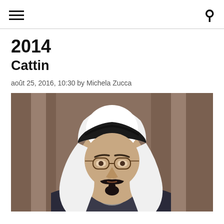≡  🔍
2014
Cattin
août 25, 2016, 10:30 by Michela Zucca
[Figure (photo): Portrait photo of a man wearing white Arab keffiyeh/ghutrah headwear with black agal, glasses with round lenses, thick dark mustache and goatee, dark robe with gold trim. Brown curtain background.]